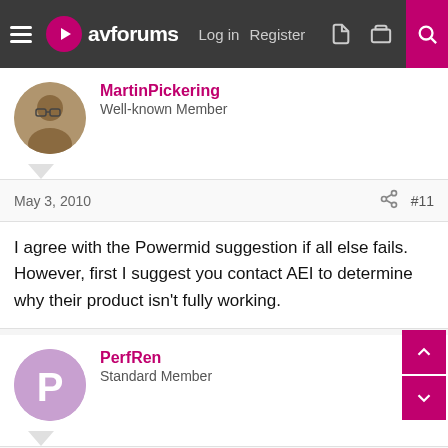avforums - Log in  Register
MartinPickering
Well-known Member
May 3, 2010   #11
I agree with the Powermid suggestion if all else fails. However, first I suggest you contact AEI to determine why their product isn't fully working.
PerfRen
Standard Member
May 3, 2010   #12
I have been in touch with AEI and used their online support feature too and nothing they suggests works. I have even used my phone camera to see if the IR is working and it is and have it placed in front of the the Sky HD box receiver (15mm to the left of the Tab logo on model) and it wont do anything.